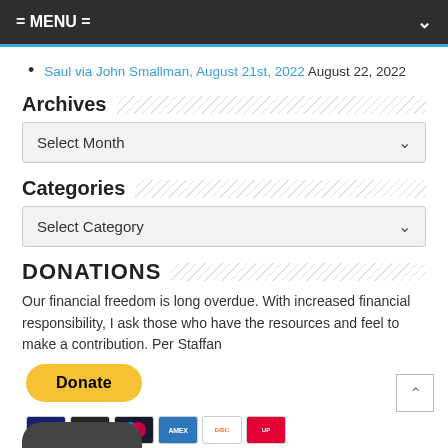= MENU =
Saul via John Smallman, August 21st, 2022  August 22, 2022
Archives
Select Month
Categories
Select Category
DONATIONS
Our financial freedom is long overdue. With increased financial responsibility, I ask those who have the resources and feel to make a contribution. Per Staffan
[Figure (other): Yellow PayPal Donate button and payment card icons (Visa, Mastercard, Maestro, Amex, Discover, UnionPay)]